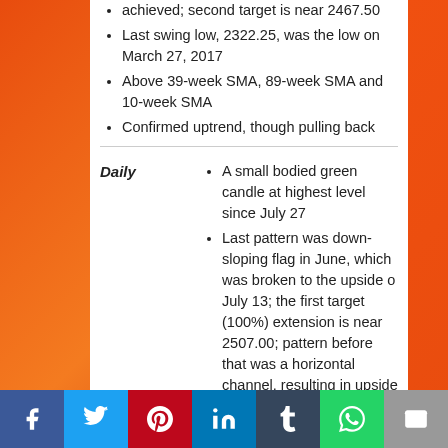achieved; second target is near 2467.50
Last swing low, 2322.25, was the low on March 27, 2017
Above 39-week SMA, 89-week SMA and 10-week SMA
Confirmed uptrend, though pulling back
Daily
A small bodied green candle at highest level since July 27
Last pattern was down-sloping flag in June, which was broken to the upside o July 13; the first target (100%) extension is near 2507.00; pattern before that was a horizontal channel, resulting in upside break, with a 100% extension target near 2480.00
Facebook | Twitter | Pinterest | LinkedIn | Tumblr | WhatsApp | Email